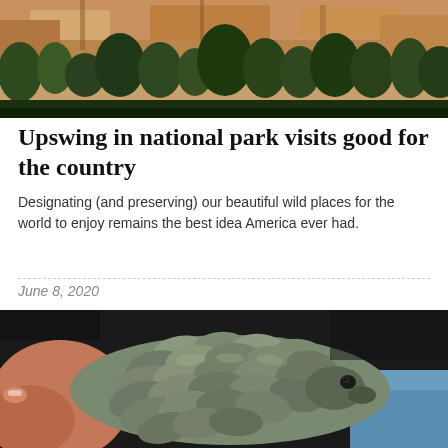[Figure (photo): Aerial or landscape view of a rocky hillside with green pine/juniper trees and orange-red sandstone cliffs]
Upswing in national park visits good for the country
Designating (and preserving) our beautiful wild places for the world to enjoy remains the best idea America ever had.
June 8, 2020
[Figure (photo): Close-up photograph of a pangolin being held in human hands, showing its distinctive overlapping scales, small eye visible on the right side]